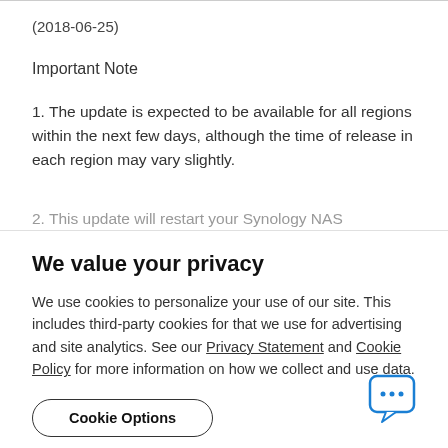(2018-06-25)
Important Note
1. The update is expected to be available for all regions within the next few days, although the time of release in each region may vary slightly.
2. This update will restart your Synology NAS
We value your privacy
We use cookies to personalize your use of our site. This includes third-party cookies for that we use for advertising and site analytics. See our Privacy Statement and Cookie Policy for more information on how we collect and use data.
Cookie Options
OK